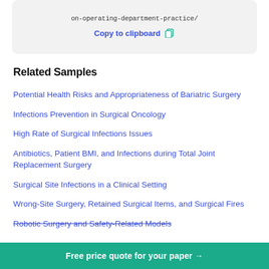on-operating-department-practice/
Copy to clipboard
Related Samples
Potential Health Risks and Appropriateness of Bariatric Surgery
Infections Prevention in Surgical Oncology
High Rate of Surgical Infections Issues
Antibiotics, Patient BMI, and Infections during Total Joint Replacement Surgery
Surgical Site Infections in a Clinical Setting
Wrong-Site Surgery, Retained Surgical Items, and Surgical Fires
Robotic Surgery and Safety-Related Models
Free price quote for your paper →